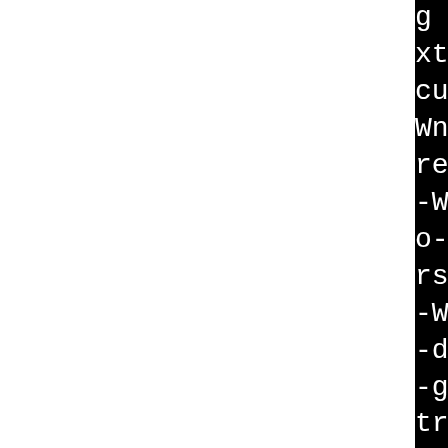g -fno-operator-names -Wextra -Wcast-align -Wchar-security -Wno-long-long -Wpedantic -Wnon-virtual-dtor -Woverloaded-return-type -Werror=init-self -Wsuggest-override -Wlogical-o-as-null-pointer-constant -Wpointers -fdiagnostics-color=always -Wformat -Werror=format-security -debug-types-section -fvar-tracking -g2 -Wp,-D_FORTIFY_SOURCE=2 -fstrong --param=ssp-buffer-size=4 -fexceptions -fstack-clash-protection -fasynchronous-unwind-tables -mtune=generic -fno-debug-types-section -fvar-tracking-assignments -g2 -DNDEBUG -DQT_NO_DEBUG -fvisibility-inlines-hidden -O2 -D_FORTIFY_SOURCE=2 -std=c++17 -MD -MT src/app/CMakeFiles/itinerary.dir/tripgroupinfoprovider.cpp.o -MF src/app/CMakeFiles/itinerary.dir/tripgroupinfoprovider.cpp.o.d -o src/app/CMakeFiles/itinerary.dir/tripgroupinfoprovider.cpp.o -c /tmp/B.6b3d4fca-8e68-11ef-b21d-4ad0e0aa9d6b/build/kde-itinerary-22.04.1/src/app/tripgroupinfoprovider.cpp
[82/284] /usr/bin/i686-plat